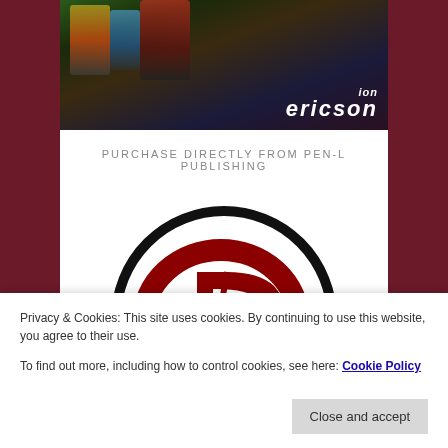[Figure (photo): Book cover image with colorful dancers/performers and text 'ion ericson' in italic white letters]
PURCHASE DIRECTLY FROM PEN-L PUBLISHING
[Figure (logo): Pen-L Publishing logo: a large black circle with a dark red stylized letter D inside a red oval ring]
Privacy & Cookies: This site uses cookies. By continuing to use this website, you agree to their use.
To find out more, including how to control cookies, see here: Cookie Policy
Close and accept